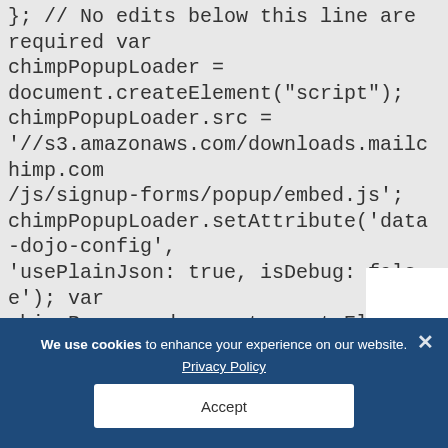}; // No edits below this line are required var chimpPopupLoader = document.createElement("script"); chimpPopupLoader.src = '//s3.amazonaws.com/downloads.mailchimp.com/js/signup-forms/popup/embed.js'; chimpPopupLoader.setAttribute('data-dojo-config', 'usePlainJson: true, isDebug: false'); var chimpPopup = document.createElement("script"); chimpPopup.appendChild(document.createTextNode('require(["mojo/signup-forms/Loader"
We use cookies to enhance your experience on our website.
Privacy Policy
Accept